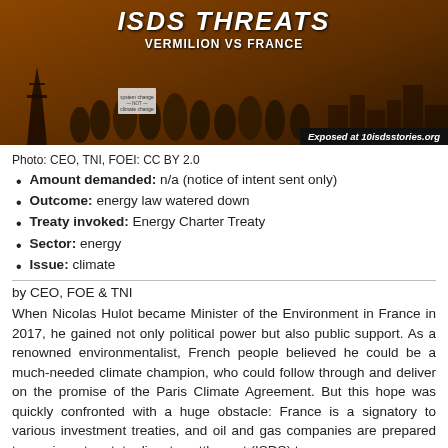[Figure (photo): Banner image with text 'ISDS THREATS' and 'VERMILION VS FRANCE' over a dark orange/brown protest photo background. 'Exposed at 10isdsstories.org' in bottom right.]
Photo: CEO, TNI, FOEI: CC BY 2.0
Amount demanded: n/a (notice of intent sent only)
Outcome: energy law watered down
Treaty invoked: Energy Charter Treaty
Sector: energy
Issue: climate
by CEO, FOE & TNI
When Nicolas Hulot became Minister of the Environment in France in 2017, he gained not only political power but also public support. As a renowned environmentalist, French people believed he could be a much-needed climate champion, who could follow through and deliver on the promise of the Paris Climate Agreement. But this hope was quickly confronted with a huge obstacle: France is a signatory to various investment treaties, and oil and gas companies are prepared to use investor-state dispute settlement (ISDS) to